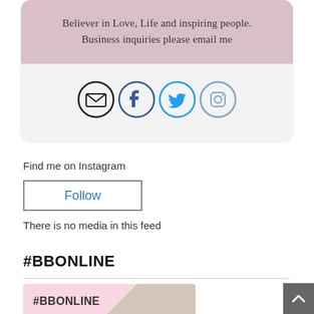Believer in Love, Life and inspiring people. Business inquiries please email me
[Figure (infographic): Four social media icons in circles: email (dark outline), Facebook (dark blue), Twitter (light blue), Instagram (gray-blue)]
Find me on Instagram
Follow
There is no media in this feed
#BBONLINE
[Figure (photo): Image with pink background and #BBONLINE text with blonde hair visible on right side]